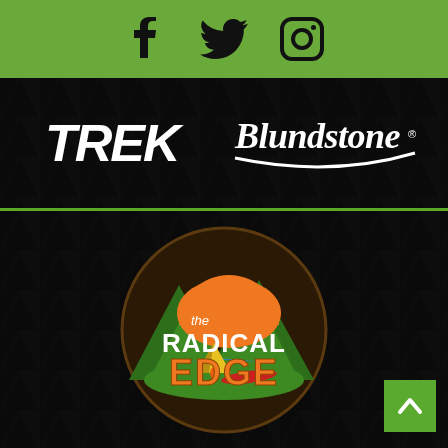[Figure (logo): Social media icons: Facebook, Twitter (bird), Instagram in black on green background]
[Figure (logo): Trek bicycle brand logo in white italic bold text on black/dark background with triangle pattern]
[Figure (logo): Blundstone boots brand logo in white script with swoosh underline on dark background]
[Figure (logo): The Radical Edge outdoor store logo: circular badge with mountains, orange sun, river, camping tent and kayak. Text reads 'the RADICAL EDGE' in white and orange letters]